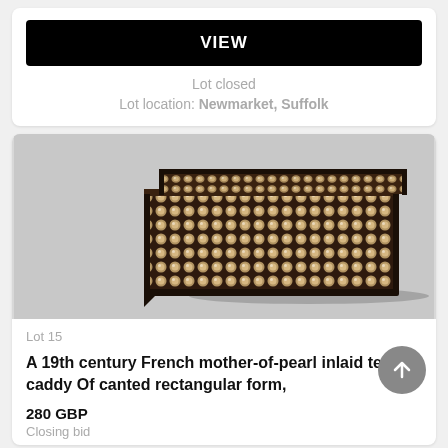VIEW
Lot closed
Lot location: Newmarket, Suffolk
[Figure (photo): A 19th century French mother-of-pearl inlaid tea caddy of canted rectangular form, photographed against a grey background. The box is dark wood with a dense checkerboard pattern of mother-of-pearl inlay on the front and top surfaces.]
Lot 15
A 19th century French mother-of-pearl inlaid tea caddy Of canted rectangular form,
280 GBP
Closing bid